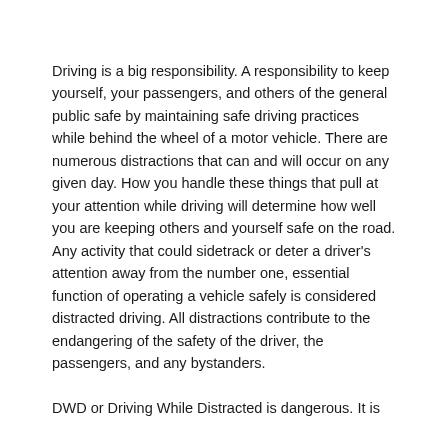Driving is a big responsibility. A responsibility to keep yourself, your passengers, and others of the general public safe by maintaining safe driving practices while behind the wheel of a motor vehicle. There are numerous distractions that can and will occur on any given day. How you handle these things that pull at your attention while driving will determine how well you are keeping others and yourself safe on the road. Any activity that could sidetrack or deter a driver's attention away from the number one, essential function of operating a vehicle safely is considered distracted driving. All distractions contribute to the endangering of the safety of the driver, the passengers, and any bystanders.
DWD or Driving While Distracted is dangerous. It is